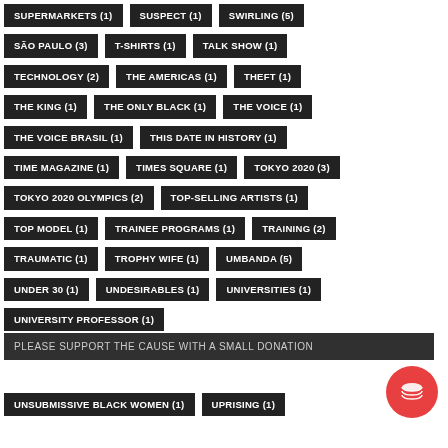SUPERMARKETS (1)
SUSPECT (1)
SWIRLING (5)
SÃO PAULO (3)
T-SHIRTS (1)
TALK SHOW (1)
TECHNOLOGY (2)
THE AMERICAS (1)
THEFT (1)
THE KING (1)
THE ONLY BLACK (1)
THE VOICE (1)
THE VOICE BRASIL (1)
THIS DATE IN HISTORY (1)
TIME MAGAZINE (1)
TIMES SQUARE (1)
TOKYO 2020 (3)
TOKYO 2020 OLYMPICS (2)
TOP-SELLING ARTISTS (1)
TOP MODEL (1)
TRAINEE PROGRAMS (1)
TRAINING (2)
TRAUMATIC (1)
TROPHY WIFE (1)
UMBANDA (5)
UNDER 30 (1)
UNDESIRABLES (1)
UNIVERSITIES (1)
UNIVERSITY PROFESSOR (1)
PLEASE SUPPORT THE CAUSE WITH A SMALL DONATION
UNSUBMISSIVE BLACK WOMEN (1)
UPRISING (1)